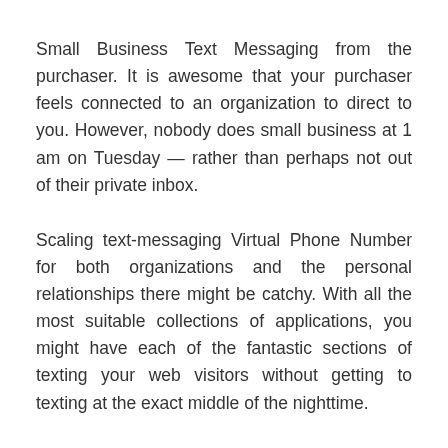Small Business Text Messaging from the purchaser. It is awesome that your purchaser feels connected to an organization to direct to you. However, nobody does small business at 1 am on Tuesday — rather than perhaps not out of their private inbox.
Scaling text-messaging Virtual Phone Number for both organizations and the personal relationships there might be catchy. With all the most suitable collections of applications, you might have each of the fantastic sections of texting your web visitors without getting to texting at the exact middle of the nighttime.
Heymarket to Climb Small Business Text Messaging